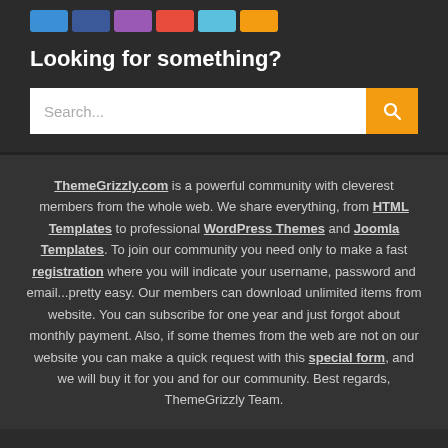[Figure (other): Row of six colored icon buttons: blue, dark blue, purple, red, teal, orange]
Looking for something?
[Figure (other): Search bar with text input placeholder 'Search...' and an orange search button with magnifier icon]
ThemeGrizzly.com is a powerful community with cleverest members from the whole web. We share everything, from HTML Templates to professional WordPress Themes and Joomla Templates. To join our community you need only to make a fast registration where you will indicate your username, password and email...pretty easy. Our members can download unlimited items from website. You can subscribe for one year and just forgot about monthly payment. Also, if some themes from the web are not on our website you can make a quick request with this special form, and we will buy it for you and for our community. Best regards, ThemeGrizzly Team.